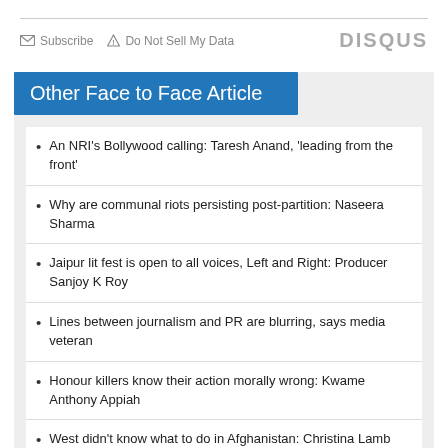Subscribe  Do Not Sell My Data  DISQUS
Other Face to Face Article
An NRI's Bollywood calling: Taresh Anand, 'leading from the front'
Why are communal riots persisting post-partition: Naseera Sharma
Jaipur lit fest is open to all voices, Left and Right: Producer Sanjoy K Roy
Lines between journalism and PR are blurring, says media veteran
Honour killers know their action morally wrong: Kwame Anthony Appiah
West didn't know what to do in Afghanistan: Christina Lamb